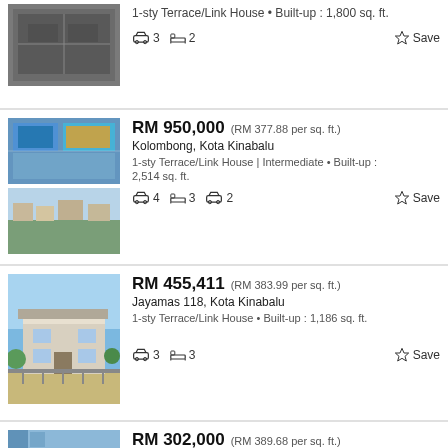1-sty Terrace/Link House • Built-up : 1,800 sq. ft. | 3 beds | 2 baths | Save
[Figure (photo): Aerial/ground photo of a building interior or parking structure]
RM 950,000 (RM 377.88 per sq. ft.) | Kolombong, Kota Kinabalu | 1-sty Terrace/Link House | Intermediate • Built-up : 2,514 sq. ft. | 4 beds | 3 baths | 2 cars | Save
[Figure (photo): Aerial photos of residential development with courts/facilities]
RM 455,411 (RM 383.99 per sq. ft.) | Jayamas 118, Kota Kinabalu | 1-sty Terrace/Link House • Built-up : 1,186 sq. ft. | 3 beds | 3 baths | Save
[Figure (photo): Photo of a modern two-storey terrace house with gate]
RM 302,000 (RM 389.68 per sq. ft.) | Taman Jelita, Kota Kinabalu | 1-sty Terrace/Link House • Built-up : 775 sq. ft.
[Figure (photo): Aerial view of a town/city landscape]